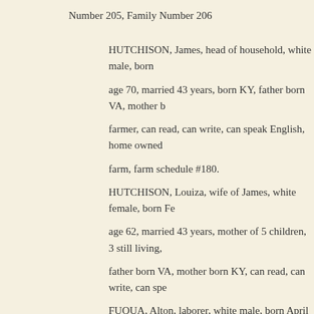Number 205, Family Number 206
HUTCHISON, James, head of household, white male, born age 70, married 43 years, born KY, father born VA, mother b farmer, can read, can write, can speak English, home owned farm, farm schedule #180.
HUTCHISON, Louiza, wife of James, white female, born Fe age 62, married 43 years, mother of 5 children, 3 still living, father born VA, mother born KY, can read, can write, can spe
FUQUA, Alton, laborer, white male, born April 1879, age 21, born TN, father born TN, mother born TN, Farm laborer, can can speak English.